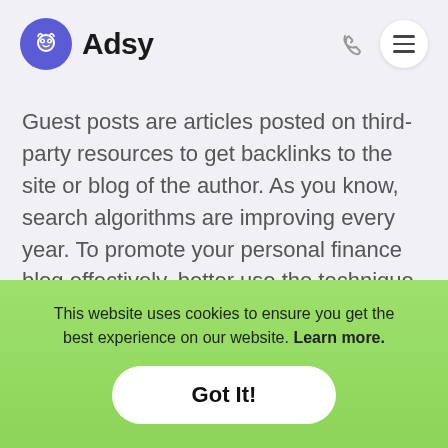Adsy
Guest posts are articles posted on third-party resources to get backlinks to the site or blog of the author. As you know, search algorithms are improving every year. To promote your personal finance blog effectively, better use the technique of placing a guest post on thematic sites and portals.
This website uses cookies to ensure you get the best experience on our website. Learn more.
Got It!